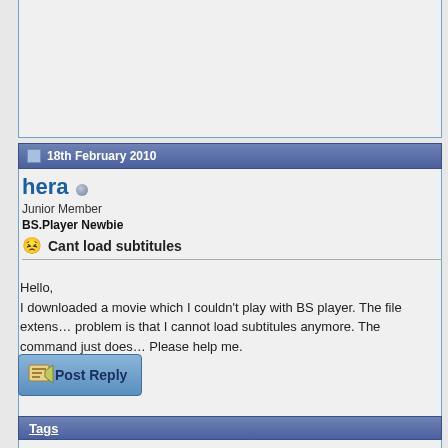18th February 2010
hera
Junior Member
BS.Player Newbie
Cant load subtitules
Hello,
I downloaded a movie which I couldn't play with BS player. The file extens... problem is that I cannot load subtitules anymore. The command just does... Please help me.
Post Reply
Tags
anymore, load, subtitles